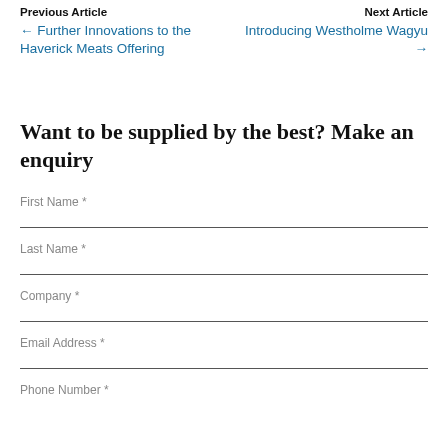Previous Article | Next Article
← Further Innovations to the Haverick Meats Offering
Introducing Westholme Wagyu →
Want to be supplied by the best? Make an enquiry
First Name *
Last Name *
Company *
Email Address *
Phone Number *